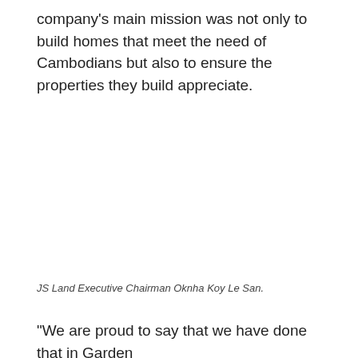company's main mission was not only to build homes that meet the need of Cambodians but also to ensure the properties they build appreciate.
JS Land Executive Chairman Oknha Koy Le San.
“We are proud to say that we have done that in Garden